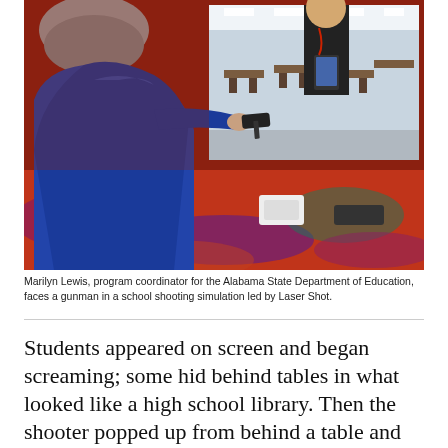[Figure (photo): A person in a blue jacket aims a handgun at a large projection screen showing a school library scene, while an instructor in black stands nearby holding a tablet. The setting has a colorful patterned carpet.]
Marilyn Lewis, program coordinator for the Alabama State Department of Education, faces a gunman in a school shooting simulation led by Laser Shot.
Students appeared on screen and began screaming; some hid behind tables in what looked like a high school library. Then the shooter popped up from behind a table and pointed his gun at Marilyn Lewis, who was testing out the program. She shot him